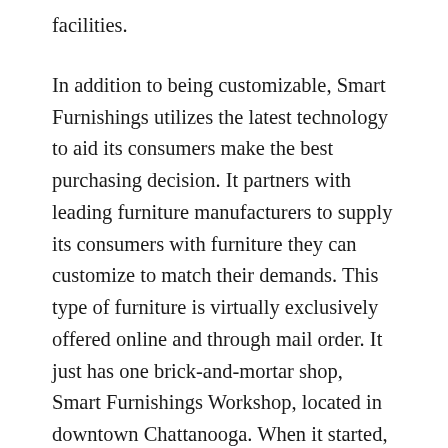facilities.
In addition to being customizable, Smart Furnishings utilizes the latest technology to aid its consumers make the best purchasing decision. It partners with leading furniture manufacturers to supply its consumers with furniture they can customize to match their demands. This type of furniture is virtually exclusively offered online and through mail order. It just has one brick-and-mortar shop, Smart Furnishings Workshop, located in downtown Chattanooga. When it started, it was a tiny start-up with an innovative principle. It was only after a couple of years of research and also a substantial investment from Southern